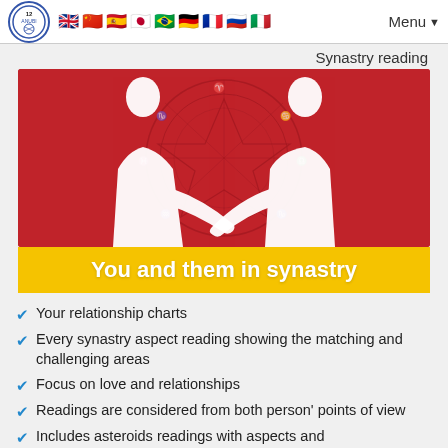12 ANUBI [logo] | flags | Menu
Synastry reading
[Figure (illustration): Two white silhouettes of people facing each other and holding hands against a red background with a zodiac/astrological wheel symbol. Yellow banner at bottom reads 'You and them in synastry'.]
You and them in synastry
Your relationship charts
Every synastry aspect reading showing the matching and challenging areas
Focus on love and relationships
Readings are considered from both person' points of view
Includes asteroids readings with aspects and